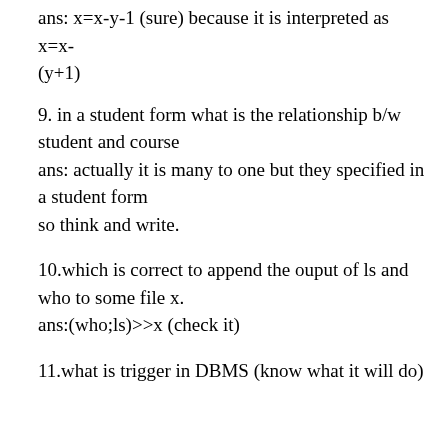ans: x=x-y-1 (sure) because it is interpreted as x=x-(y+1)
9. in a student form what is the relationship b/w student and course
ans: actually it is many to one but they specified in a student form
so think and write.
10.which is correct to append the ouput of ls and who to some file x.
ans:(who;ls)>>x (check it)
11.what is trigger in DBMS (know what it will do)